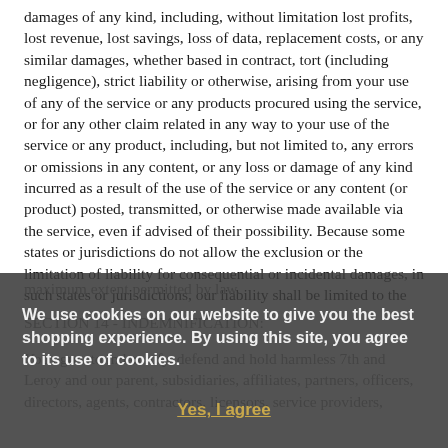damages of any kind, including, without limitation lost profits, lost revenue, lost savings, loss of data, replacement costs, or any similar damages, whether based in contract, tort (including negligence), strict liability or otherwise, arising from your use of any of the service or any products procured using the service, or for any other claim related in any way to your use of the service or any product, including, but not limited to, any errors or omissions in any content, or any loss or damage of any kind incurred as a result of the use of the service or any content (or product) posted, transmitted, or otherwise made available via the service, even if advised of their possibility. Because some states or jurisdictions do not allow the exclusion or the limitation of liability for consequential or incidental damages, in such states or jurisdictions, our liability shall be limited to the
maximum extent permitted by law.
SECTION 14 - INDEMNIFICATION:
You agree to indemnify, defend and hold harmless 7th and Leroy and our parent, subsidiaries, affiliates, partners, officers, directors, agents, contractors, licensors, service providers,
We use cookies on our website to give you the best shopping experience. By using this site, you agree to its use of cookies.
Yes, I agree